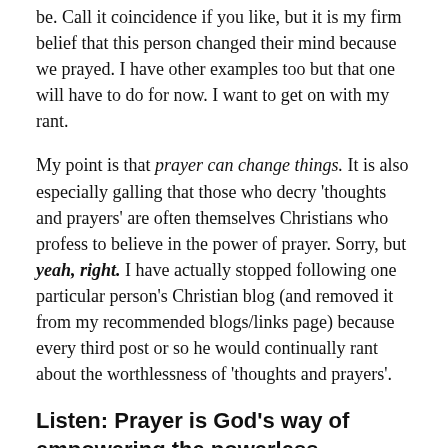be. Call it coincidence if you like, but it is my firm belief that this person changed their mind because we prayed. I have other examples too but that one will have to do for now. I want to get on with my rant.
My point is that prayer can change things. It is also especially galling that those who decry 'thoughts and prayers' are often themselves Christians who profess to believe in the power of prayer. Sorry, but yeah, right. I have actually stopped following one particular person's Christian blog (and removed it from my recommended blogs/links page) because every third post or so he would continually rant about the worthlessness of 'thoughts and prayers'.
Listen: Prayer is God's way of empowering the powerless.
Who are we to say that 'thoughts and